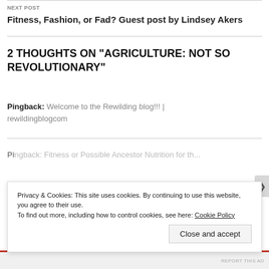NEXT POST
Fitness, Fashion, or Fad? Guest post by Lindsey Akers
2 THOUGHTS ON "AGRICULTURE: NOT SO REVOLUTIONARY"
Pingback: Welcome to the Rewilding blog!!! | rewildingblogcom
Pingback: Fitness or Possible Ancestor Nutrition for the...
Privacy & Cookies: This site uses cookies. By continuing to use this website, you agree to their use. To find out more, including how to control cookies, see here: Cookie Policy
Close and accept